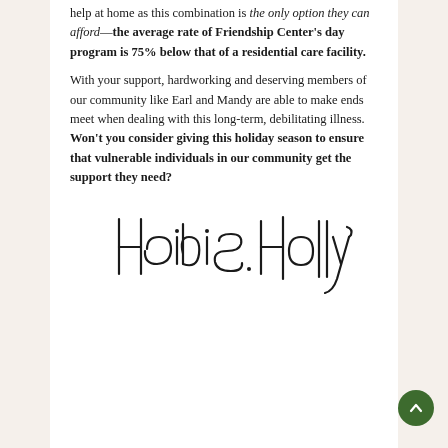help at home as this combination is the only option they can afford—the average rate of Friendship Center's day program is 75% below that of a residential care facility.

With your support, hardworking and deserving members of our community like Earl and Mandy are able to make ends meet when dealing with this long-term, debilitating illness. Won't you consider giving this holiday season to ensure that vulnerable individuals in our community get the support they need?
[Figure (illustration): Handwritten cursive signature reading 'Heidi S. Holly']